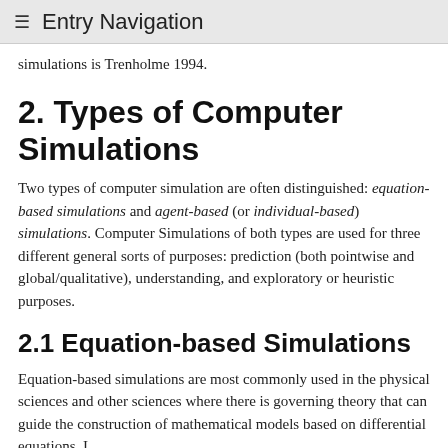≡ Entry Navigation
simulations is Trenholme 1994.
2. Types of Computer Simulations
Two types of computer simulation are often distinguished: equation-based simulations and agent-based (or individual-based) simulations. Computer Simulations of both types are used for three different general sorts of purposes: prediction (both pointwise and global/qualitative), understanding, and exploratory or heuristic purposes.
2.1 Equation-based Simulations
Equation-based simulations are most commonly used in the physical sciences and other sciences where there is governing theory that can guide the construction of mathematical models based on differential equations. I